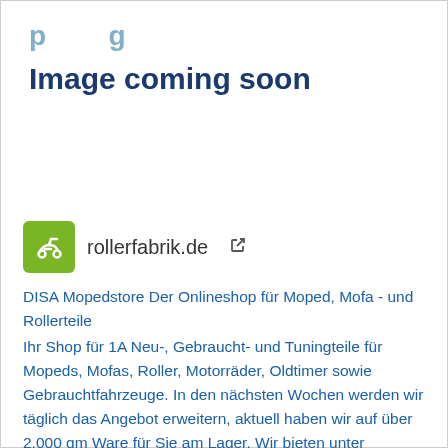[Figure (illustration): Image coming soon placeholder with teal/blue text showing partial top text and 'Image coming soon' in bold dark blue]
[Figure (logo): Rollerfabrik.de green logo with stylized scooter/moped icon, followed by site name 'rollerfabrik.de' and external link icon]
DISA Mopedstore Der Onlineshop für Moped, Mofa - und Rollerteile
Ihr Shop für 1A Neu-, Gebraucht- und Tuningteile für Mopeds, Mofas, Roller, Motorräder, Oldtimer sowie Gebrauchtfahrzeuge. In den nächsten Wochen werden wir täglich das Angebot erweitern, aktuell haben wir auf über 2.000 qm Ware für Sie am Lager. Wir bieten unter anderem Teile für Motor und Getriebe, Auspuff, Stoßdämpfer, Züge, Reifen, CDI, Vergaser und alle Arten von Kleinteilen wie Schrauben, Dichtungen, Nippel, Gummiteile, Zündkerzen, Stecker Vergaserdüsen für